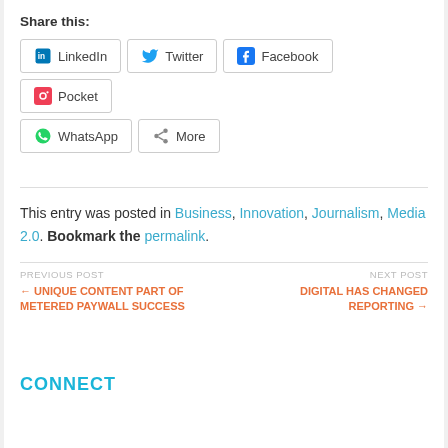Share this:
LinkedIn  Twitter  Facebook  Pocket  WhatsApp  More
This entry was posted in Business, Innovation, Journalism, Media 2.0. Bookmark the permalink.
← UNIQUE CONTENT PART OF METERED PAYWALL SUCCESS
DIGITAL HAS CHANGED REPORTING →
Comments are closed.
CONNECT